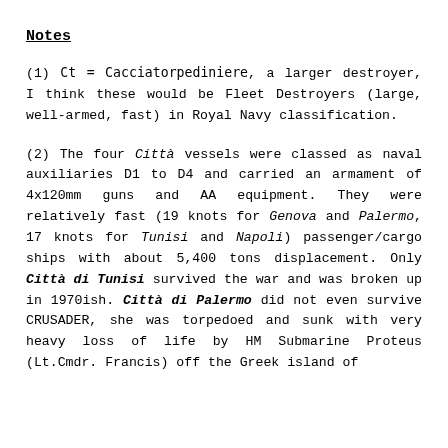Notes
(1) Ct = Cacciatorpediniere, a larger destroyer, I think these would be Fleet Destroyers (large, well-armed, fast) in Royal Navy classification.
(2) The four Città vessels were classed as naval auxiliaries D1 to D4 and carried an armament of 4x120mm guns and AA equipment. They were relatively fast (19 knots for Genova and Palermo, 17 knots for Tunisi and Napoli) passenger/cargo ships with about 5,400 tons displacement. Only Città di Tunisi survived the war and was broken up in 1970ish. Città di Palermo did not even survive CRUSADER, she was torpedoed and sunk with very heavy loss of life by HM Submarine Proteus (Lt.Cmdr. Francis) off the Greek island of